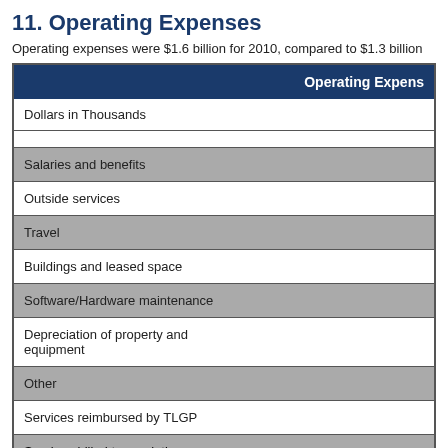11. Operating Expenses
Operating expenses were $1.6 billion for 2010, compared to $1.3 billion
|  | Operating Expenses |
| --- | --- |
| Dollars in Thousands |  |
|  |  |
| Salaries and benefits |  |
| Outside services |  |
| Travel |  |
| Buildings and leased space |  |
| Software/Hardware maintenance |  |
| Depreciation of property and equipment |  |
| Other |  |
| Services reimbursed by TLGP |  |
| Services billed to resolution entities |  |